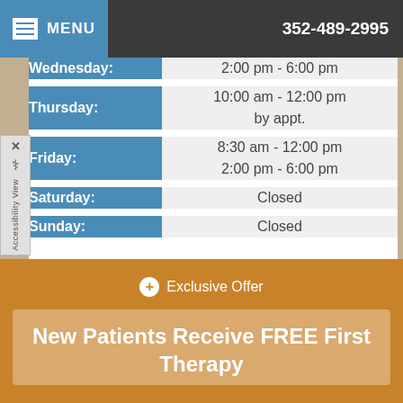MENU   352-489-2995
| Day | Hours |
| --- | --- |
| Wednesday: | 2:00 pm - 6:00 pm |
| Thursday: | 10:00 am - 12:00 pm
by appt. |
| Friday: | 8:30 am - 12:00 pm
2:00 pm - 6:00 pm |
| Saturday: | Closed |
| Sunday: | Closed |
Exclusive Offer
New Patients Receive FREE First Therapy